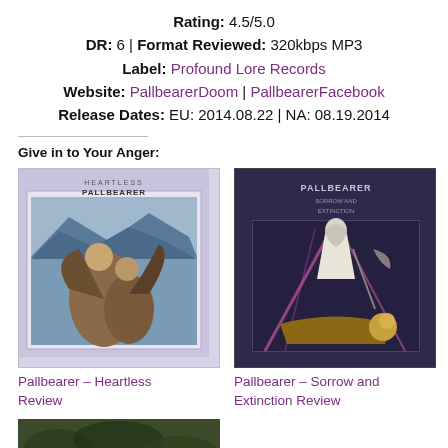Rating: 4.5/5.0
DR: 6 | Format Reviewed: 320kbps MP3
Label: Profound Lore Records
Website: PallbearerDoom | PallbearerFacebook
Release Dates: EU: 2014.08.22 | NA: 08.19.2014
Give in to Your Anger:
[Figure (photo): Album cover for Pallbearer - Heartless, showing illustrated fantasy figures on a lavender/light purple background]
Pallbearer – Heartless Review
[Figure (photo): Album cover for Pallbearer - Sorrow and Extinction, showing a robed figure in a dark purple/navy background]
Pallbearer – Sorrow and Extinction Review
[Figure (photo): Partial album/photo image, dark green/brown tones, partially visible at bottom of page]